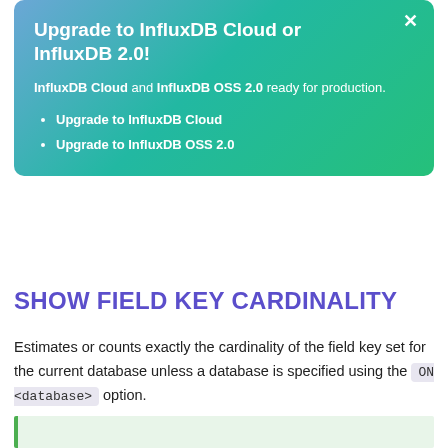[Figure (infographic): Upgrade banner with gradient teal/blue background containing title, description, and two list items about upgrading InfluxDB, with a close button (x) in the top right.]
Upgrade to InfluxDB Cloud or InfluxDB 2.0!
InfluxDB Cloud and InfluxDB OSS 2.0 ready for production.
Upgrade to InfluxDB Cloud
Upgrade to InfluxDB OSS 2.0
SHOW FIELD KEY CARDINALITY
Estimates or counts exactly the cardinality of the field key set for the current database unless a database is specified using the ON <database> option.